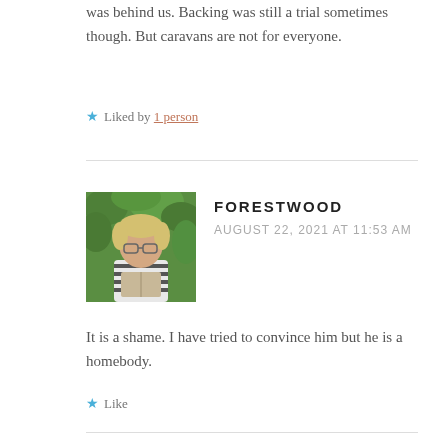was behind us. Backing was still a trial sometimes though. But caravans are not for everyone.
★ Liked by 1 person
FORESTWOOD
AUGUST 22, 2021 AT 11:53 AM
[Figure (photo): Avatar photo of Forestwood, a person with short blonde hair and glasses, reading, with green foliage background]
It is a shame. I have tried to convince him but he is a homebody.
★ Like